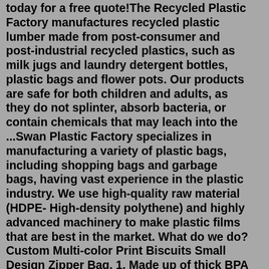today for a free quote!The Recycled Plastic Factory manufactures recycled plastic lumber made from post-consumer and post-industrial recycled plastics, such as milk jugs and laundry detergent bottles, plastic bags and flower pots. Our products are safe for both children and adults, as they do not splinter, absorb bacteria, or contain chemicals that may leach into the ...Swan Plastic Factory specializes in manufacturing a variety of plastic bags, including shopping bags and garbage bags, having vast experience in the plastic industry. We use high-quality raw material (HDPE- High-density polythene) and highly advanced machinery to make plastic films that are best in the market. What do we do? Custom Multi-color Print Biscuits Small Design Zipper Bag. 1. Made up of thick BPA free plastic with enhanced durability.2. With multipurpose use these eco-friendly reusable food storage bags can be used hundreds of times.3. which can save your money and save the planet. Wonderful replacement of disposable food bags. Liberty Industries, Inc. located in East Berlin